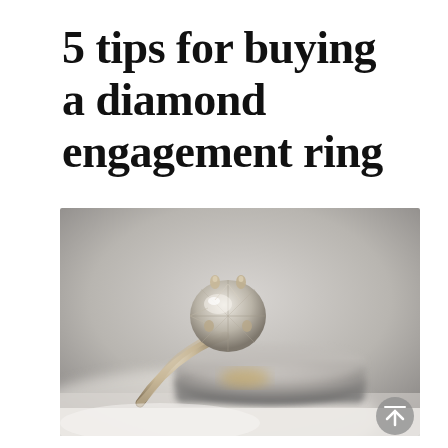5 tips for buying a diamond engagement ring
[Figure (photo): Close-up photograph of a diamond solitaire engagement ring with a round brilliant cut diamond in a prong setting, resting on top of a wider plain gold/silver band, on a white background with soft bokeh. A gray scroll-to-top button with an upward arrow is visible in the bottom-right corner of the image.]